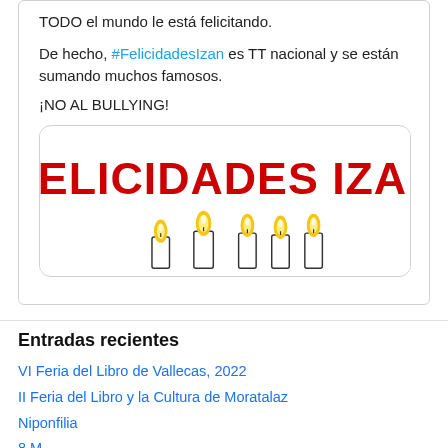TODO el mundo le está felicitando.
De hecho, #FelicidadesIzan es TT nacional y se están sumando muchos famosos.
¡NO AL BULLYING!
[Figure (illustration): Image with bold red text '¡FELICIDADES IZAN!' and birthday candles below]
Entradas recientes
VI Feria del Libro de Vallecas, 2022
II Feria del Libro y la Cultura de Moratalaz
Niponfilia
8 M
Presentación de 'Redención (Nuestro último baile)